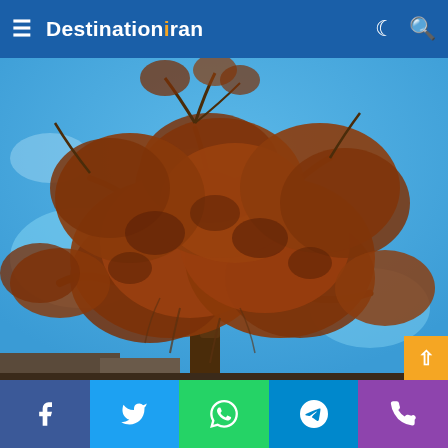Destination Iran
[Figure (photo): Large tree with dense reddish-brown foliage against a blue sky background, photographed from below looking up]
Social share buttons: Facebook, Twitter, WhatsApp, Telegram, Phone